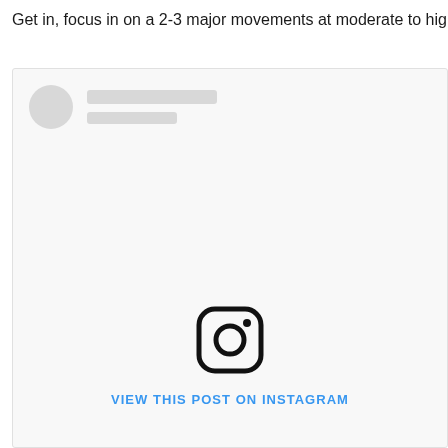Get in, focus in on a 2-3 major movements at moderate to high in
[Figure (screenshot): Instagram post embed placeholder showing a loading skeleton with avatar circle and gray placeholder lines, an Instagram camera logo icon in the center, and a 'VIEW THIS POST ON INSTAGRAM' blue link at the bottom]